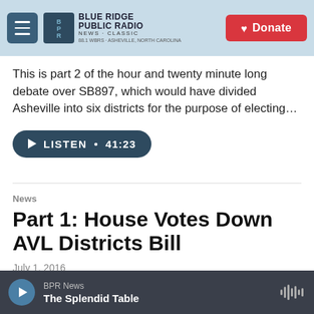Blue Ridge Public Radio — Donate
This is part 2 of the hour and twenty minute long debate over SB897, which would have divided Asheville into six districts for the purpose of electing…
[Figure (other): Listen button with play icon and duration: LISTEN • 41:23]
News
Part 1: House Votes Down AVL Districts Bill
July 1, 2016
BPR News — The Splendid Table